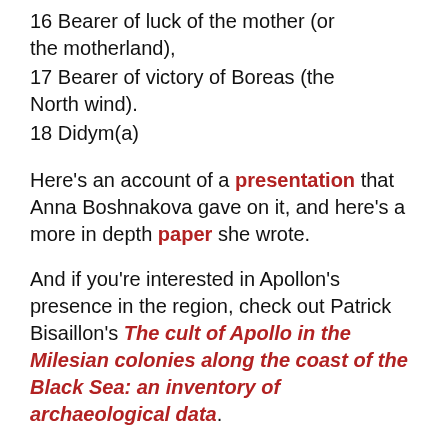16 Bearer of luck of the mother (or the motherland),
17 Bearer of victory of Boreas (the North wind).
18 Didym(a)
Here's an account of a presentation that Anna Boshnakova gave on it, and here's a more in depth paper she wrote.
And if you're interested in Apollon's presence in the region, check out Patrick Bisaillon's The cult of Apollo in the Milesian colonies along the coast of the Black Sea: an inventory of archaeological data.